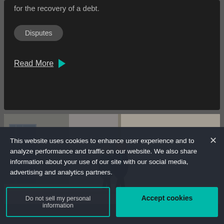for the recovery of a debt.
Disputes
Read More
[Figure (photo): Two businessmen in suits walking past a modern building exterior, viewed from the side]
This website uses cookies to enhance user experience and to analyze performance and traffic on our website. We also share information about your use of our site with our social media, advertising and analytics partners.
Do not sell my personal information
Accept cookies